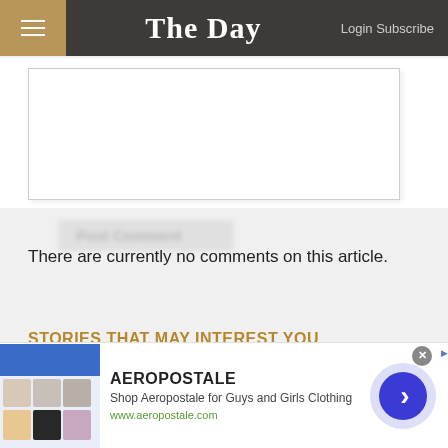The Day — Login Subscribe
[Figure (screenshot): Comment text area input box (empty, white)]
Post Comment (blurred button)
There are currently no comments on this article.
STORIES THAT MAY INTEREST YOU
[Figure (screenshot): Aeropostale advertisement banner with clothing thumbnails, title 'AEROPOSTALE', description 'Shop Aeropostale for Guys and Girls Clothing', URL 'www.aeropostale.com', and a blue circular arrow button]